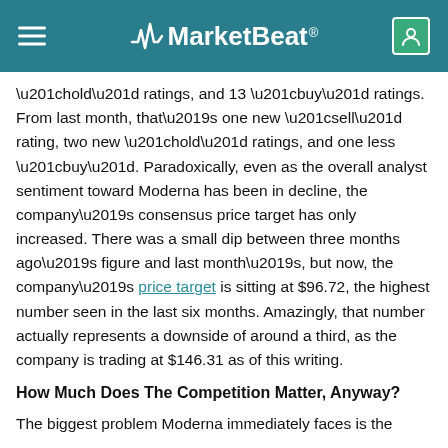MarketBeat
“hold” ratings, and 13 “buy” ratings. From last month, that’s one new “sell” rating, two new “hold” ratings, and one less “buy”. Paradoxically, even as the overall analyst sentiment toward Moderna has been in decline, the company’s consensus price target has only increased. There was a small dip between three months ago’s figure and last month’s, but now, the company’s price target is sitting at $96.72, the highest number seen in the last six months. Amazingly, that number actually represents a downside of around a third, as the company is trading at $146.31 as of this writing.
How Much Does The Competition Matter, Anyway?
The biggest problem Moderna immediately faces is the